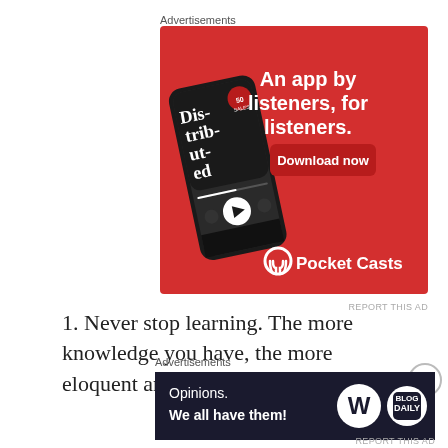Advertisements
[Figure (illustration): Pocket Casts app advertisement on red background showing a smartphone with 'Distributed' podcast playing, text 'An app by listeners, for listeners.' and 'Download now' button with Pocket Casts logo]
REPORT THIS AD
1. Never stop learning. The more knowledge you have, the more eloquent and influential you
Advertisements
[Figure (illustration): WordPress advertisement with dark background, text 'Opinions. We all have them!' with WordPress W logo and another circular logo]